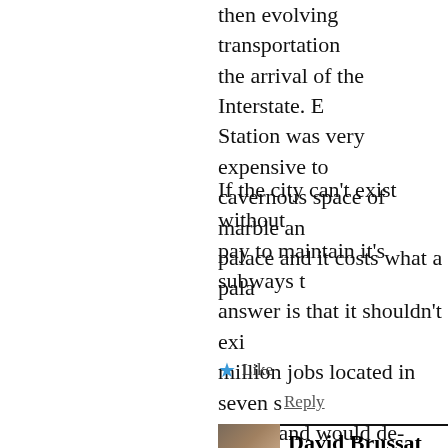then evolving transportation the arrival of the Interstate. E Station was very expensive to cavernous space of marble an palace and it costs what a pala
If the city can't exist without pay to maintain it's subways t answer is that it shouldn't exi million jobs located in seven s The island would de-densify a elsewhere making manhattan less congested, less expensive
Like
Reply
David Brussat says: